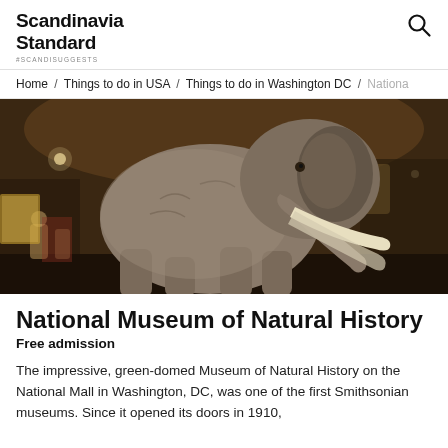Scandinavia Standard #SCANDISUGGESTS
Home / Things to do in USA / Things to do in Washington DC / Nationa…
[Figure (photo): Large elephant exhibit mounted in a museum rotunda, photographed from below and behind, showing the animal's grey hide, tusks, and raised trunk, with warm interior lighting and visitors visible in the background.]
National Museum of Natural History
Free admission
The impressive, green-domed Museum of Natural History on the National Mall in Washington, DC, was one of the first Smithsonian museums. Since it opened its doors in 1910,